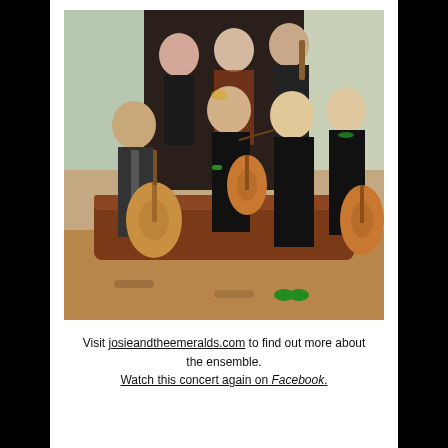[Figure (photo): Group photo of seven musicians dressed in black, holding period instruments including a lute, baroque violin, and viola da gamba, posed indoors in a wood-panelled room.]
Visit josieandtheemeralds.com to find out more about the ensemble. Watch this concert again on Facebook.